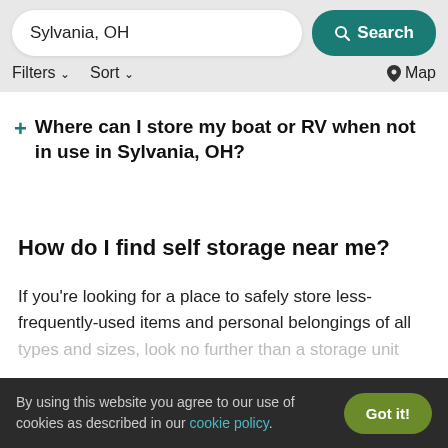Sylvania, OH  Search  Filters  Sort  Map
Where can I store my boat or RV when not in use in Sylvania, OH?
How do I find self storage near me?
If you're looking for a place to safely store less-frequently-used items and personal belongings of all types and sizes, look no further than a storage unit
By using this website you agree to our use of cookies as described in our cookie policy.  Got it!